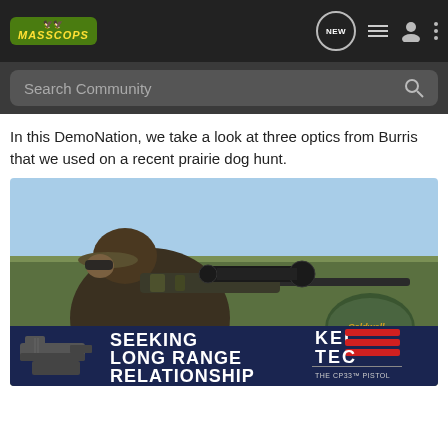MASSCOPS | NEW | [list icon] [user icon] [menu icon]
Search Community
In this DemoNation, we take a look at three optics from Burris that we used on a recent prairie dog hunt.
[Figure (photo): A man wearing a camouflage cap and sunglasses aiming a rifle with a scope mounted on it, using a green shooting bag (Caldwell brand) as a rest on an outdoor table. Ammunition is visible. An advertisement banner for Kel-Tec CP33 pistol overlays the bottom of the image.]